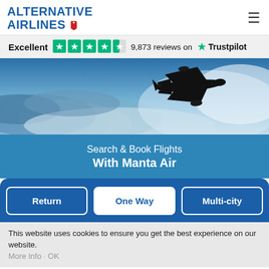ALTERNATIVE AIRLINES
Excellent  9,873 reviews on Trustpilot
[Figure (photo): Silhouette of a commercial airplane flying against a dramatic blue and white cloudy sky background]
Search & Book Flights With Manta Air
Return | One Way | Multi-city
This website uses cookies to ensure you get the best experience on our website. More Info  OK